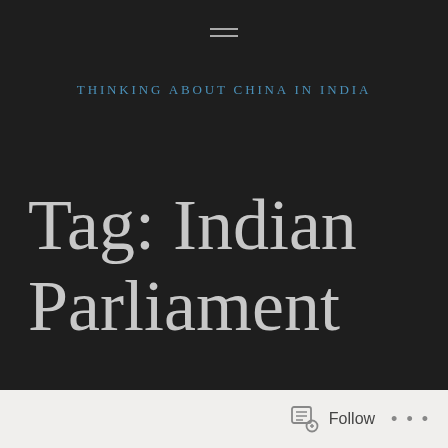THINKING ABOUT CHINA IN INDIA
Tag: Indian Parliament
Follow ...